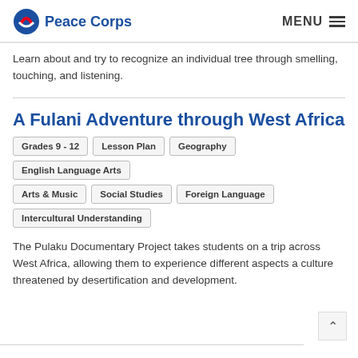Peace Corps | MENU
Learn about and try to recognize an individual tree through smelling, touching, and listening.
A Fulani Adventure through West Africa
Grades 9 - 12
Lesson Plan
Geography
English Language Arts
Arts & Music
Social Studies
Foreign Language
Intercultural Understanding
The Pulaku Documentary Project takes students on a trip across West Africa, allowing them to experience different aspects a culture threatened by desertification and development.